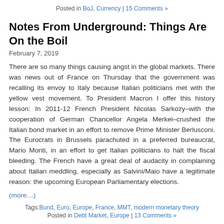Posted in BoJ, Currency | 15 Comments »
Notes From Underground: Things Are On the Boil
February 7, 2019
There are so many things causing angst in the global markets. There was news out of France on Thursday that the government was recalling its envoy to Italy because Italian politicians met with the yellow vest movement. To President Macron I offer this history lesson: In 2011-12 French President Nicolas Sarkozy–with the cooperation of German Chancellor Angela Merkel–crushed the Italian bond market in an effort to remove Prime Minister Berlusconi. The Eurocrats in Brussels parachuted in a preferred bureaucrat, Mario Monti, in an effort to get Italian politicians to halt the fiscal bleeding. The French have a great deal of audacity in complaining about Italian meddling, especially as Salvini/Maio have a legitimate reason: the upcoming European Parliamentary elections.
(more…)
Tags: Bund, Euro, Europe, France, MMT, modern monetary theory
Posted in Debt Market, Europe | 13 Comments »